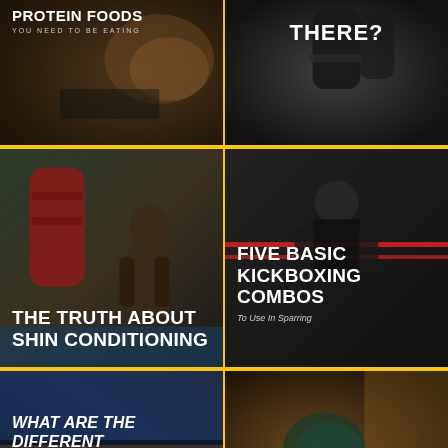[Figure (photo): Dark photo of protein foods with text overlay: PROTEIN FOODS YOU NEED TO BE EATING]
[Figure (photo): Dark gym photo with punching bag and text: THERE?]
[Figure (photo): Martial arts fighters in gym with text: THE TRUTH ABOUT SHIN CONDITIONING]
[Figure (photo): Kickboxing ring photo with text: FIVE BASIC KICKBOXING COMBOS, To Use In Sparring]
[Figure (photo): Outdoor silhouette photo with text: WHAT ARE THE DIFFERENT TYPES OF MARTIAL ARTS? GUEST POST BY ASENT FROM FIGHTERCULTURE.COM]
[Figure (photo): Close-up of boxing gloves with text: AVOIDING HAND PAINS AND INJURY, When Wearing Boxing Gloves]